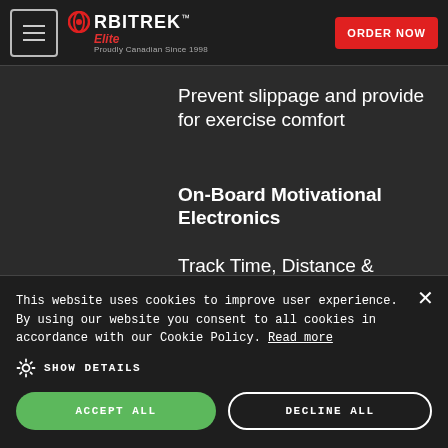ORBITREK Elite — Proudly Canadian Since 1998 | ORDER NOW
Prevent slippage and provide for exercise comfort
On-Board Motivational Electronics
Track Time, Distance & Approximate Calories Burned
This website uses cookies to improve user experience. By using our website you consent to all cookies in accordance with our Cookie Policy. Read more
SHOW DETAILS
ACCEPT ALL
DECLINE ALL